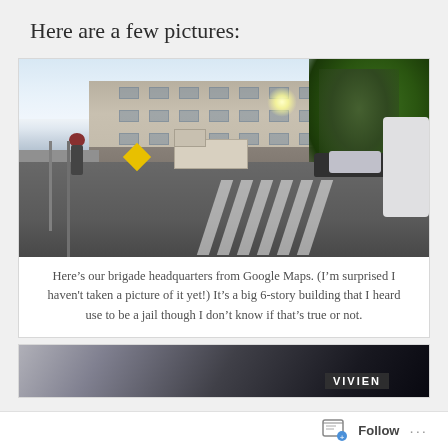Here are a few pictures:
[Figure (photo): Google Maps street view photo of a 6-story building that serves as brigade headquarters, with a large intersection in the foreground, trees on the right, and vehicles in the street.]
Here’s our brigade headquarters from Google Maps. (I’m surprised I haven't taken a picture of it yet!) It’s a big 6-story building that I heard use to be a jail though I don’t know if that’s true or not.
[Figure (photo): Partial view of a second photo showing dark image with a label reading VIVIEN.]